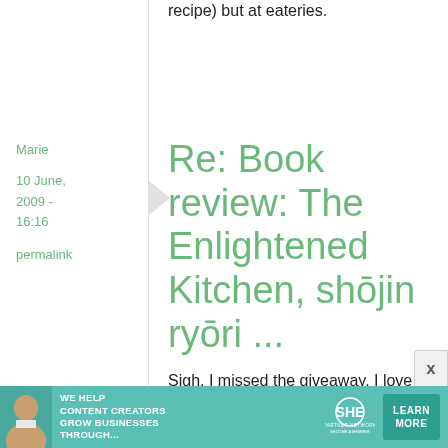recipe) but at eateries.
Marie
10 June, 2009 - 16:16
permalink
Re: Book review: The Enlightened Kitchen, shōjin ryōri ...
Sigh, I missed the giveaway. I love goma-tofu and am saving up
[Figure (other): Advertisement banner: SHE Partner Network - We help content creators grow businesses through... Learn More button, woman with laptop photo]